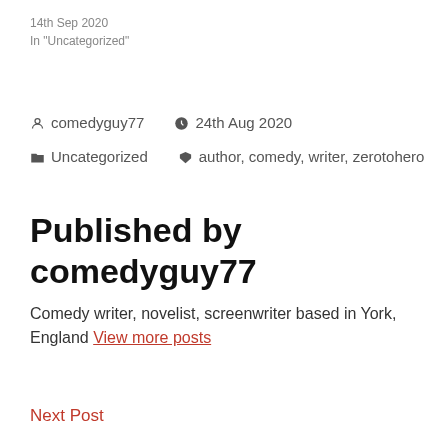14th Sep 2020
In "Uncategorized"
comedyguy77   24th Aug 2020
Uncategorized   author, comedy, writer, zerotohero
Published by comedyguy77
Comedy writer, novelist, screenwriter based in York, England View more posts
Next Post